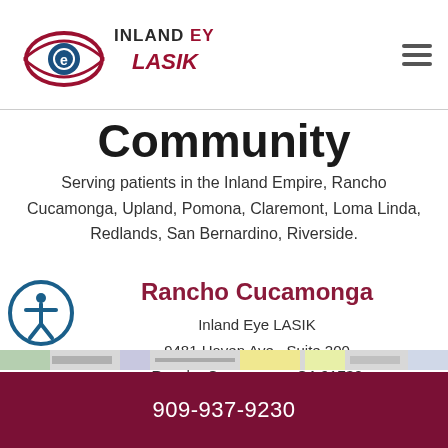Inland Eye LASIK — logo and navigation
Community
Serving patients in the Inland Empire, Rancho Cucamonga, Upland, Pomona, Claremont, Loma Linda, Redlands, San Bernardino, Riverside.
Rancho Cucamonga
Inland Eye LASIK
9481 Haven Ave., Suite 200
Rancho Cucamonga, CA 91730
Phone: (909) 937-9230
[Figure (map): Street map thumbnail showing location area]
909-937-9230